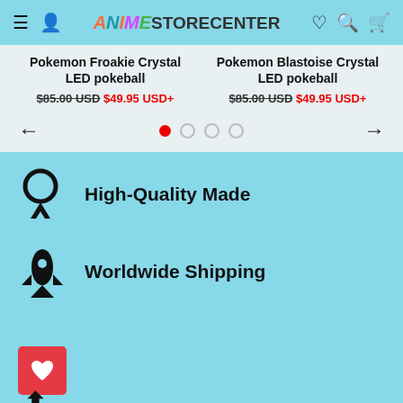AnimeStoreCenter
Pokemon Froakie Crystal LED pokeball — $85.00 USD $49.95 USD+
Pokemon Blastoise Crystal LED pokeball — $85.00 USD $49.95 USD+
High-Quality Made
Worldwide Shipping